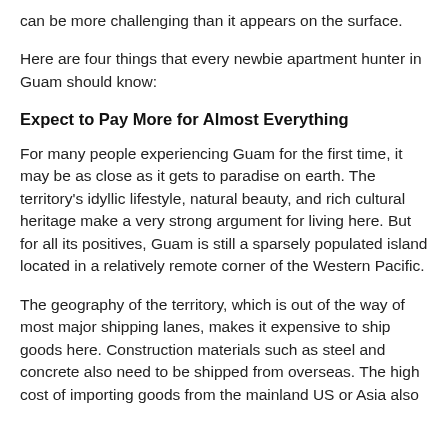can be more challenging than it appears on the surface.
Here are four things that every newbie apartment hunter in Guam should know:
Expect to Pay More for Almost Everything
For many people experiencing Guam for the first time, it may be as close as it gets to paradise on earth. The territory's idyllic lifestyle, natural beauty, and rich cultural heritage make a very strong argument for living here. But for all its positives, Guam is still a sparsely populated island located in a relatively remote corner of the Western Pacific.
The geography of the territory, which is out of the way of most major shipping lanes, makes it expensive to ship goods here. Construction materials such as steel and concrete also need to be shipped from overseas. The high cost of importing goods from the mainland US or Asia also